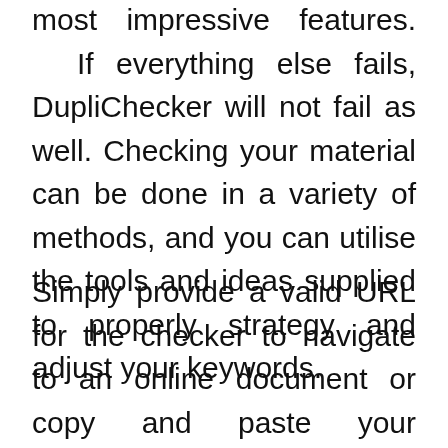most impressive features. If everything else fails, DupliChecker will not fail as well. Checking your material can be done in a variety of methods, and you can utilise the tools and ideas supplied to properly strategy and adjust your keywords.
Simply provide a valid URL for the checker to navigate to an online document or copy and paste your favourite material into the checker's input field. Aside from keyword